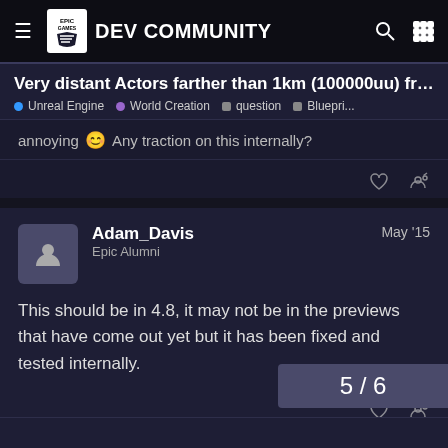Epic Games Dev Community
Very distant Actors farther than 1km (100000uu) fro...
Unreal Engine  •  World Creation  •  question  •  Bluepri...
annoying 😊 Any traction on this internally?
Adam_Davis
Epic Alumni
May '15
This should be in 4.8, it may not be in the previews that have come out yet but it has been fixed and tested internally.
5 / 6